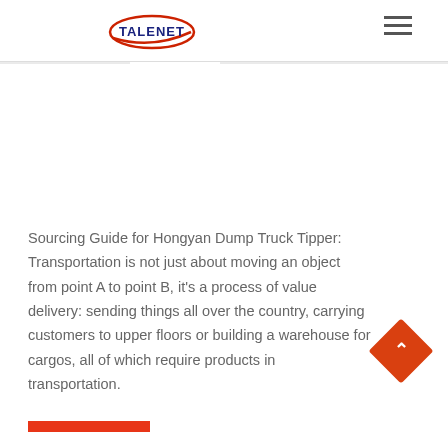TALENET [logo with hamburger menu]
Sourcing Guide for Hongyan Dump Truck Tipper: Transportation is not just about moving an object from point A to point B, it's a process of value delivery: sending things all over the country, carrying customers to upper floors or building a warehouse for cargos, all of which require products in transportation.